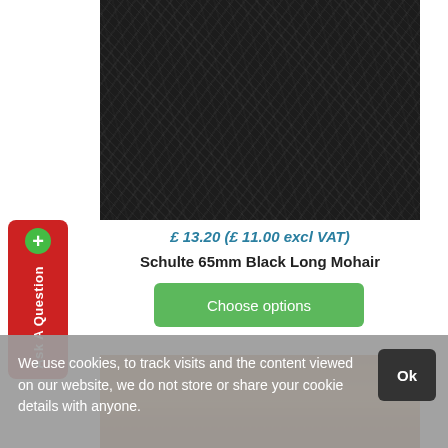[Figure (photo): Close-up of black long mohair fur fabric]
£ 13.20 (£ 11.00 excl VAT)
Schulte 65mm Black Long Mohair
Choose options
[Figure (photo): Close-up of brown/golden mohair fur fabric]
We use cookies, to track visits and the content viewed on our website, we do not store or share your cookie details with anyone.
Ok
More information